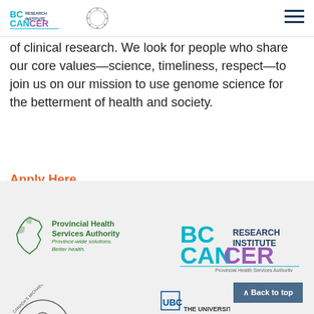[Figure (logo): BC Cancer Research Institute logo and circular logo in page header]
of clinical research. We look for people who share our core values—science, timeliness, respect—to join us on our mission to use genome science for the betterment of health and society.
Apply Here
[Figure (logo): Provincial Health Services Authority logo — green BC map outline with text 'Provincial Health Services Authority, Province-wide solutions. Better health.']
[Figure (logo): BC Cancer Research Institute logo — large teal/purple BC CANCER text with RESEARCH INSTITUTE and Provincial Health Services Authority tagline]
[Figure (logo): Canada's Michael Smith logo (partial, circular)]
[Figure (logo): UBC The University logo (partial)]
^ Back to top